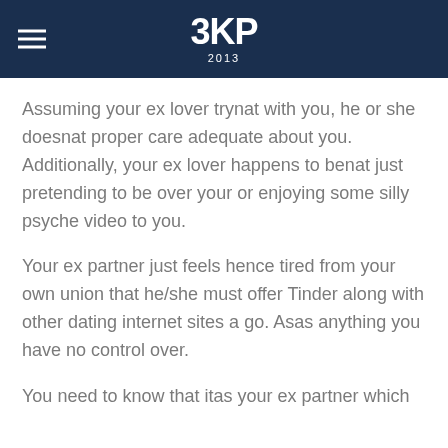3KP 2013
Assuming your ex lover trynat with you, he or she doesnat proper care adequate about you. Additionally, your ex lover happens to benat just pretending to be over your or enjoying some silly psyche video to you.
Your ex partner just feels hence tired from your own union that he/she must offer Tinder along with other dating internet sites a go. Asas anything you have no control over.
You need to know that itas your ex partner which